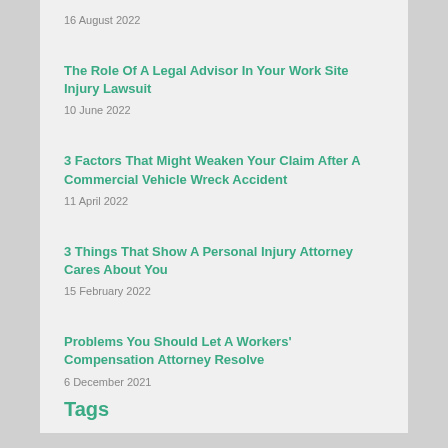16 August 2022
The Role Of A Legal Advisor In Your Work Site Injury Lawsuit
10 June 2022
3 Factors That Might Weaken Your Claim After A Commercial Vehicle Wreck Accident
11 April 2022
3 Things That Show A Personal Injury Attorney Cares About You
15 February 2022
Problems You Should Let A Workers' Compensation Attorney Resolve
6 December 2021
Tags